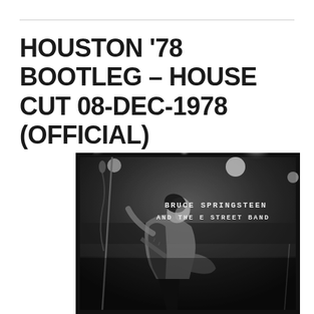HOUSTON '78 BOOTLEG – HOUSE CUT 08-DEC-1978 (OFFICIAL)
[Figure (photo): Black and white concert photo of Bruce Springsteen performing on stage, head tilted back, playing guitar, microphone stands visible, with text overlay reading BRUCE SPRINGSTEEN AND THE E STREET BAND]